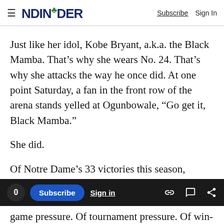NDINSiDER | Subscribe  Sign In
Just like her idol, Kobe Bryant, a.k.a. the Black Mamba. That’s why she wears No. 24. That’s why she attacks the way he once did. At one point Saturday, a fan in the front row of the arena stands yelled at Ogunbowale, “Go get it, Black Mamba.”
She did.
Of Notre Dame’s 33 victories this season, Saturday’s was the first decided by single digits. This one was that close. The Irish felt like they didn’t play their best when the needed to be at
game pressure. Of tournament pressure. Of win-